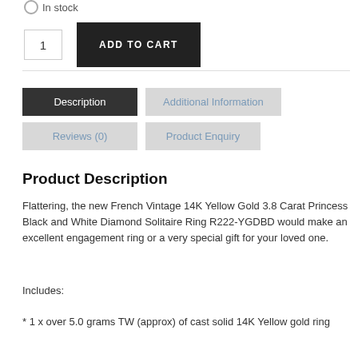In stock
1  ADD TO CART
Description
Additional Information
Reviews (0)
Product Enquiry
Product Description
Flattering, the new French Vintage 14K Yellow Gold 3.8 Carat Princess Black and White Diamond Solitaire Ring R222-YGDBD would make an excellent engagement ring or a very special gift for your loved one.
Includes:
* 1 x over 5.0 grams TW (approx) of cast solid 14K Yellow gold ring